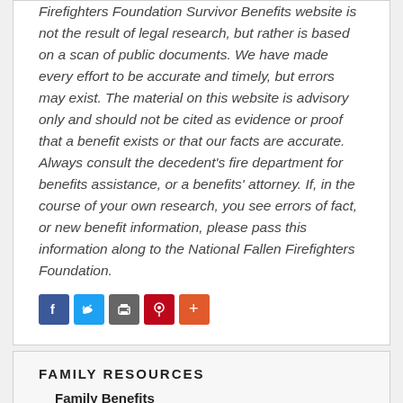Firefighters Foundation Survivor Benefits website is not the result of legal research, but rather is based on a scan of public documents. We have made every effort to be accurate and timely, but errors may exist. The material on this website is advisory only and should not be cited as evidence or proof that a benefit exists or that our facts are accurate. Always consult the decedent's fire department for benefits assistance, or a benefits' attorney. If, in the course of your own research, you see errors of fact, or new benefit information, please pass this information along to the National Fallen Firefighters Foundation.
[Figure (infographic): Social sharing icons: Facebook (blue), Twitter (light blue), Print (gray), Pinterest (red), More/Share (orange-red)]
FAMILY RESOURCES
Family Benefits
Survivor Benefits Guide
Federal Benefits
Hometown Heroes Survivors' Benefits Act
State & Local Benefits
– Alabama Survivor Benefits